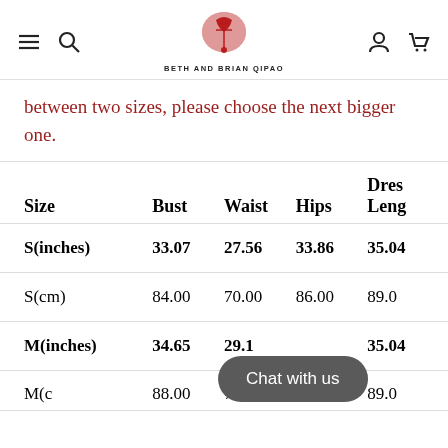BETH AND BRIAN QIPAO
between two sizes, please choose the next bigger one.
| Size | Bust | Waist | Hips | Dress Length |
| --- | --- | --- | --- | --- |
| S(inches) | 33.07 | 27.56 | 33.86 | 35.0… |
| S(cm) | 84.00 | 70.00 | 86.00 | 89.0… |
| M(inches) | 34.65 | 29.1… |  | 35.0… |
| M(cm) | 88.00 | 74.00 | 90.00 | 89.0… |